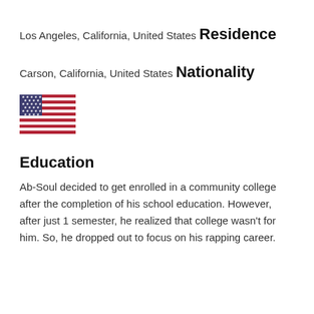Los Angeles, California, United States
Residence
Carson, California, United States
Nationality
[Figure (illustration): US flag emoji]
Education
Ab-Soul decided to get enrolled in a community college after the completion of his school education. However, after just 1 semester, he realized that college wasn't for him. So, he dropped out to focus on his rapping career.